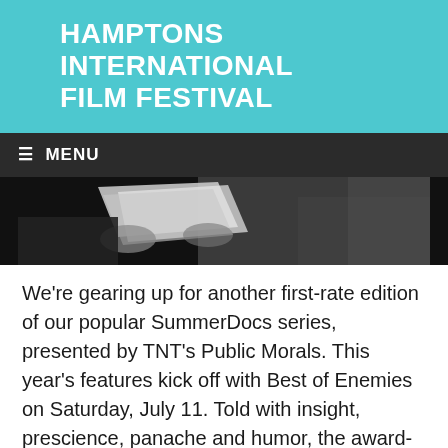HAMPTONS INTERNATIONAL FILM FESTIVAL
≡  MENU
[Figure (photo): Black and white photo of a person holding papers, cropped showing hands and documents]
We're gearing up for another first-rate edition of our popular SummerDocs series, presented by TNT's Public Morals. This year's features kick off with Best of Enemies on Saturday, July 11. Told with insight, prescience, panache and humor, the award-winning Best of Enemies chronicles the groundbreaking series of televised debates between Gore Vidal and William F. Buckley, Jr., during the 1968 presidential conventions. The two [...]